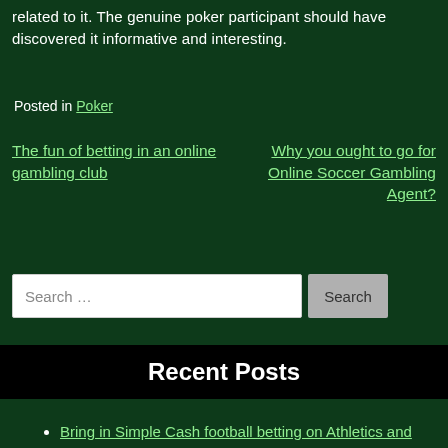related to it. The genuine poker participant should have discovered it informative and interesting.
Posted in Poker
The fun of betting in an online gambling club
Why you ought to go for Online Soccer Gambling Agent?
Search …
Recent Posts
Bring in Simple Cash football betting on Athletics and sports exercises
Why Getting Into Play Online Gacor Slot Gambling Games?